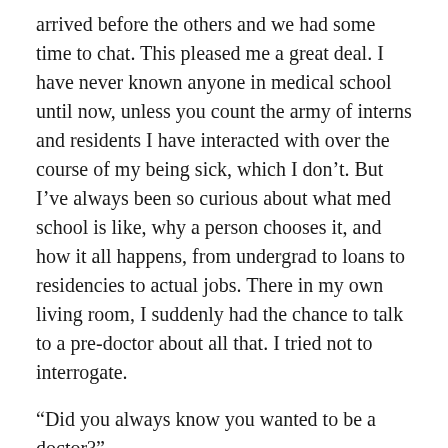arrived before the others and we had some time to chat. This pleased me a great deal. I have never known anyone in medical school until now, unless you count the army of interns and residents I have interacted with over the course of my being sick, which I don't. But I've always been so curious about what med school is like, why a person chooses it, and how it all happens, from undergrad to loans to residencies to actual jobs. There in my own living room, I suddenly had the chance to talk to a pre-doctor about all that. I tried not to interrogate.
“Did you always know you wanted to be a doctor?”
“Are you driven by a deep love of practicing medicine?”
“Do you enjoy it?”